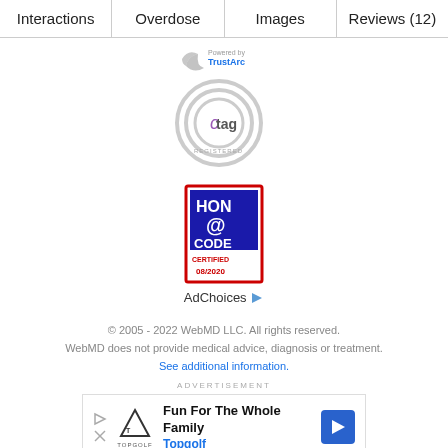Interactions | Overdose | Images | Reviews (12)
[Figure (logo): TrustArc logo - crescent shape with 'Powered by TrustArc' text]
[Figure (logo): TAG Registered logo - concentric circles with 'tag' text and 'REGISTERED' below]
[Figure (logo): HON Code badge - red bordered box with blue background, '@' symbol, text 'HON CODE CERTIFIED 08/2020']
AdChoices
© 2005 - 2022 WebMD LLC. All rights reserved.
WebMD does not provide medical advice, diagnosis or treatment.
See additional information.
ADVERTISEMENT
[Figure (illustration): Topgolf advertisement banner: 'Fun For The Whole Family' headline with Topgolf logo and blue navigation arrow icon]